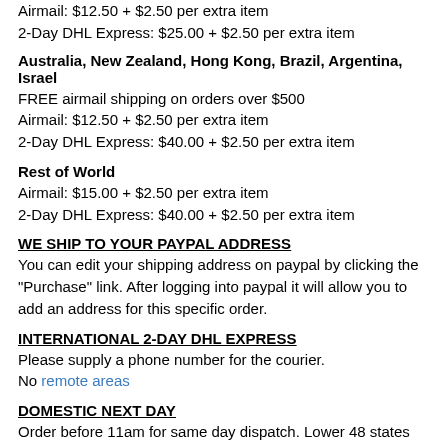Airmail: $12.50 + $2.50 per extra item
2-Day DHL Express: $25.00 + $2.50 per extra item
Australia, New Zealand, Hong Kong, Brazil, Argentina, Israel
FREE airmail shipping on orders over $500
Airmail: $12.50 + $2.50 per extra item
2-Day DHL Express: $40.00 + $2.50 per extra item
Rest of World
Airmail: $15.00 + $2.50 per extra item
2-Day DHL Express: $40.00 + $2.50 per extra item
WE SHIP TO YOUR PAYPAL ADDRESS
You can edit your shipping address on paypal by clicking the "Purchase" link. After logging into paypal it will allow you to add an address for this specific order.
INTERNATIONAL 2-DAY DHL EXPRESS
Please supply a phone number for the courier.
No remote areas
DOMESTIC NEXT DAY
Order before 11am for same day dispatch. Lower 48 states only.
Release Information